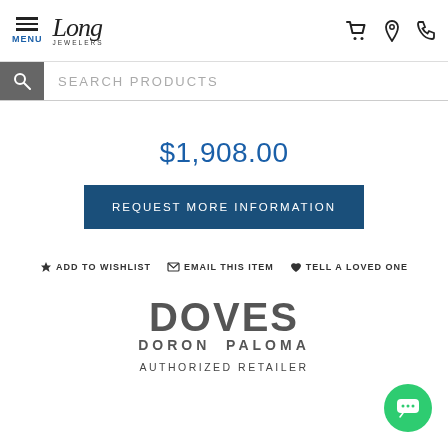Long Jewelers — MENU — Search Products
$1,908.00
REQUEST MORE INFORMATION
★ ADD TO WISHLIST  ✉ EMAIL THIS ITEM  ♥ TELL A LOVED ONE
[Figure (logo): Doves Doron Paloma brand logo with 'AUTHORIZED RETAILER' text below]
[Figure (other): Green circular chat button in bottom right corner]